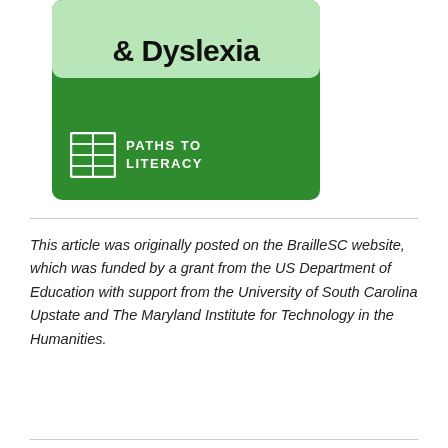[Figure (logo): Paths to Literacy logo on a green background, with '& Dyslexia' text visible in a light green rounded rectangle at top, and 'PATHS TO LITERACY' text with a braille/book icon in white below.]
This article was originally posted on the BrailleSC website, which was funded by a grant from the US Department of Education with support from the University of South Carolina Upstate and The Maryland Institute for Technology in the Humanities.